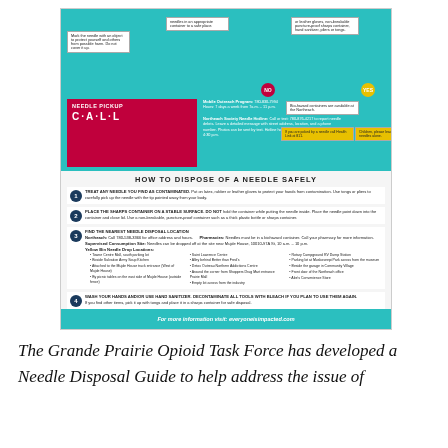[Figure (infographic): Needle disposal safety infographic from Grande Prairie Opioid Task Force. Shows a flowchart on how to handle found needles, a red 'Needle Pickup CALL' box with phone numbers for Mobile Outreach Program and Northeach Society Needle Hotline, and four numbered steps on how to dispose of a needle safely. Includes Yellow Bin Needle Drop Locations list. Footer: For more information visit: everyoneisimpacted.com]
The Grande Prairie Opioid Task Force has developed a Needle Disposal Guide to help address the issue of